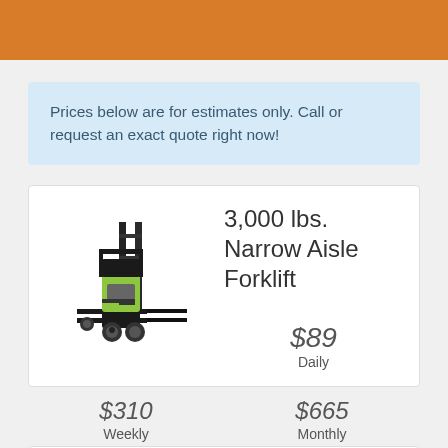Prices below are for estimates only. Call or request an exact quote right now!
3,000 lbs. Narrow Aisle Forklift
$89
Daily
$310
Weekly
$665
Monthly